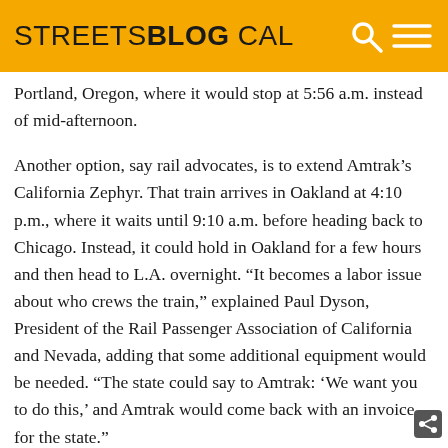STREETSBLOG CAL
Portland, Oregon, where it would stop at 5:56 a.m. instead of mid-afternoon.
Another option, say rail advocates, is to extend Amtrak's California Zephyr. That train arrives in Oakland at 4:10 p.m., where it waits until 9:10 a.m. before heading back to Chicago. Instead, it could hold in Oakland for a few hours and then head to L.A. overnight. “It becomes a labor issue about who crews the train,” explained Paul Dyson, President of the Rail Passenger Association of California and Nevada, adding that some additional equipment would be needed. “The state could say to Amtrak: ‘We want you to do this,’ and Amtrak would come back with an invoice for the state.”